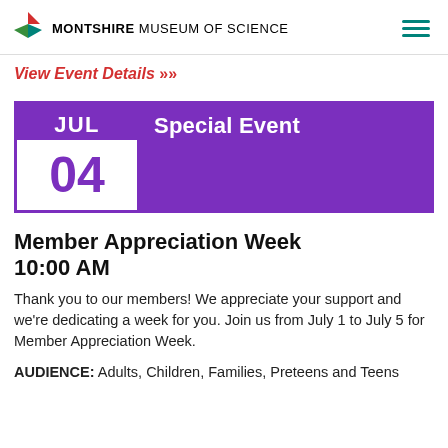MONTSHIRE MUSEUM OF SCIENCE
View Event Details »
[Figure (infographic): Event calendar block showing JUL 04 with purple background, alongside a purple banner reading 'Special Event']
Member Appreciation Week
10:00 AM
Thank you to our members! We appreciate your support and we're dedicating a week for you. Join us from July 1 to July 5 for Member Appreciation Week.
AUDIENCE: Adults, Children, Families, Preteens and Teens